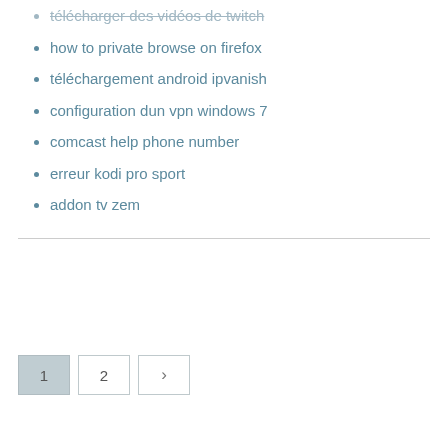télécharger des vidéos de twitch
how to private browse on firefox
téléchargement android ipvanish
configuration dun vpn windows 7
comcast help phone number
erreur kodi pro sport
addon tv zem